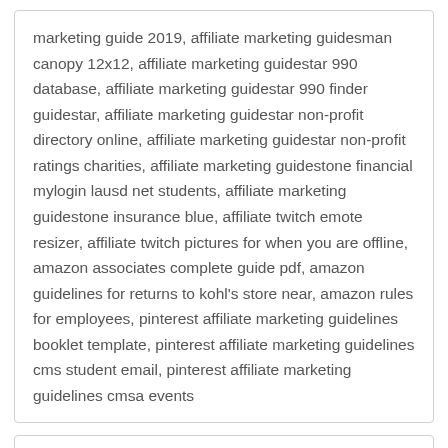marketing guide 2019, affiliate marketing guidesman canopy 12x12, affiliate marketing guidestar 990 database, affiliate marketing guidestar 990 finder guidestar, affiliate marketing guidestar non-profit directory online, affiliate marketing guidestar non-profit ratings charities, affiliate marketing guidestone financial mylogin lausd net students, affiliate marketing guidestone insurance blue, affiliate twitch emote resizer, affiliate twitch pictures for when you are offline, amazon associates complete guide pdf, amazon guidelines for returns to kohl's store near, amazon rules for employees, pinterest affiliate marketing guidelines booklet template, pinterest affiliate marketing guidelines cms student email, pinterest affiliate marketing guidelines cmsa events
GoodLife Fitness Gyms and